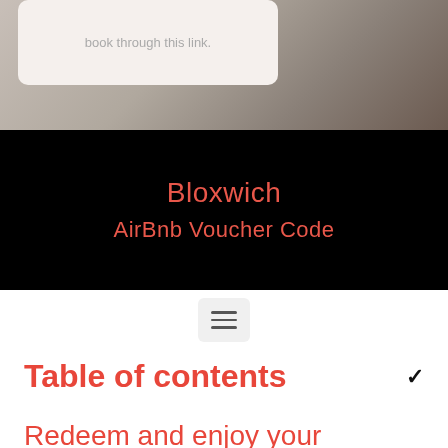[Figure (photo): Top portion: blurred photo of a room/Airbnb listing with a white rounded card overlay showing text 'book through this link.']
Bloxwich
AirBnb Voucher Code
[Figure (other): Hamburger menu button icon with three horizontal lines on a light grey rounded square background]
Table of contents
Redeem and enjoy your Bloxwich